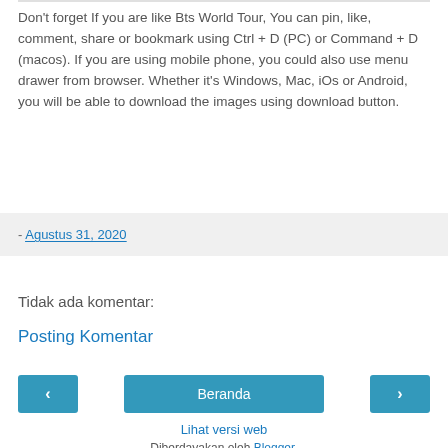Don't forget If you are like Bts World Tour, You can pin, like, comment, share or bookmark using Ctrl + D (PC) or Command + D (macos). If you are using mobile phone, you could also use menu drawer from browser. Whether it's Windows, Mac, iOs or Android, you will be able to download the images using download button.
- Agustus 31, 2020
Tidak ada komentar:
Posting Komentar
‹ Beranda › Lihat versi web Diberdayakan oleh Blogger.